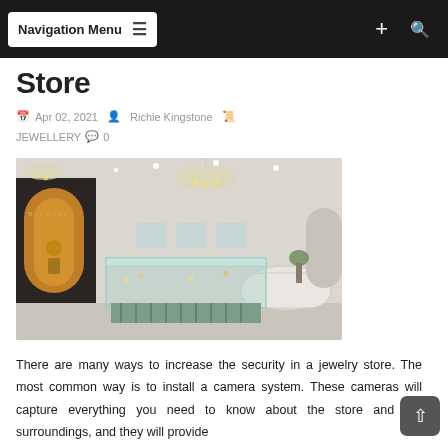Navigation Menu  +  🔍
Store
Apr 02, 2021  Richie Kingstone  JEWELLERY  0
[Figure (photo): Interior of a luxury jewelry store (Bulgari) with glass display cases, crystal chandeliers, and curved white ceiling with recessed lighting.]
There are many ways to increase the security in a jewelry store. The most common way is to install a camera system. These cameras will capture everything you need to know about the store and the surroundings, and they will provide